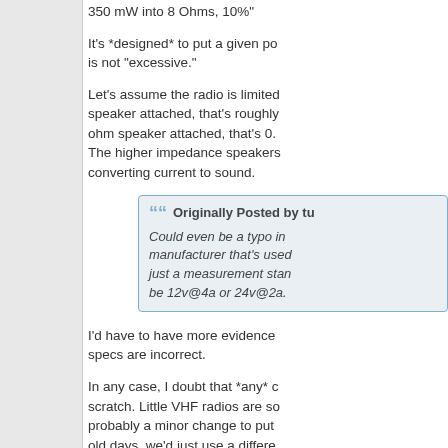350 mW into 8 Ohms, 10%"
It's *designed* to put a given po is not "excessive."
Let's assume the radio is limited speaker attached, that's roughly ohm speaker attached, that's 0. The higher impedance speakers converting current to sound.
Originally Posted by tu Could even be a typo in manufacturer that's used just a measurement star be 12v@4a or 24v@2a.
I'd have to have more evidence specs are incorrect.
In any case, I doubt that *any* c scratch. Little VHF radios are so probably a minor change to put old days, we'd just use a differe kids have better ways of doing i
But it gets thornier when you re